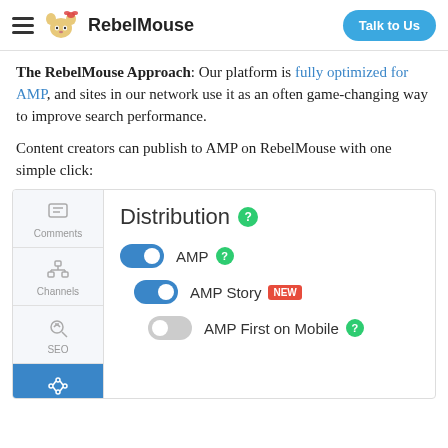RebelMouse — Talk to Us
The RebelMouse Approach: Our platform is fully optimized for AMP, and sites in our network use it as an often game-changing way to improve search performance.
Content creators can publish to AMP on RebelMouse with one simple click:
[Figure (screenshot): Screenshot of the RebelMouse platform Distribution panel showing AMP, AMP Story (NEW), and AMP First on Mobile toggle options with a left sidebar showing Comments, Channels, SEO, and Distribution navigation items.]